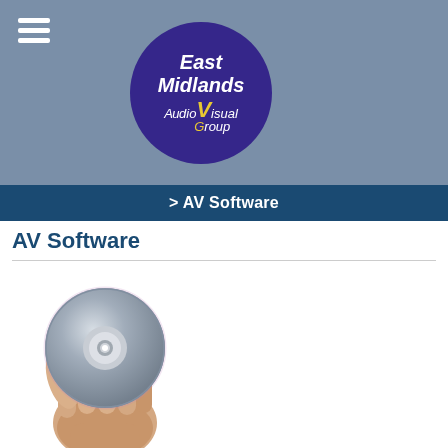[Figure (logo): East Midlands Audio Visual Group circular logo — dark purple circle with white and yellow italic text reading 'East Midlands AudioVisual Group']
> AV Software
AV Software
[Figure (photo): A hand holding a CD/DVD disc against a white background]